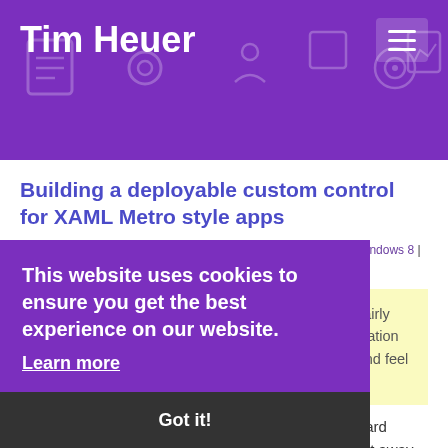Tim Heuer
Building a deployable custom control for XAML Metro style apps
07 March 2012 | Comments | Posted in xaml | controls | nuget | windows 8 | winrt
Thanks for visiting! Just a fair warning this post is fairly 'old' in tech terms and may contain outdated information and/or broken links or pictures. Please verify info and feel free to contact me if questions!
At //build one of the surprising immediate things I heard about was folks wanting to build custom controls right away.  I knew that would happen, but not so quick on something so new (WinRT). The XAML platform did not have good support for building custom controls in the
This website uses cookies to ensure you get the best experience on our website.
Learn more
Got it!